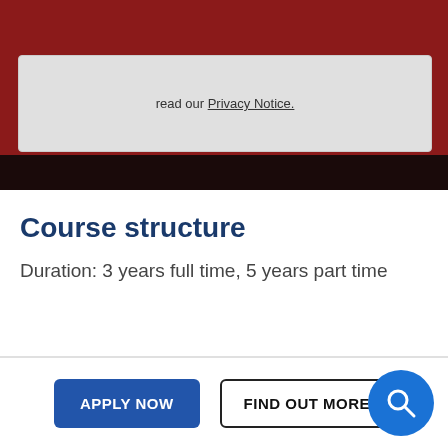[Figure (screenshot): Dark red top banner with a partial gray form/box containing text 'read our Privacy Notice.' with underlined link, overlaid on a dark background]
read our Privacy Notice.
Course structure
Duration: 3 years full time, 5 years part time
APPLY NOW
FIND OUT MORE